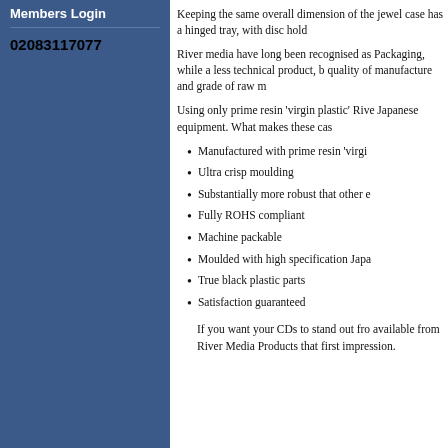Members Login
02083117077
Keeping the same overall dimension of the jewel case has a hinged tray, with disc hold
River media have long been recognised as Packaging, while a less technical product, b quality of manufacture and grade of raw m
Using only prime resin 'virgin plastic' Rive Japanese equipment. What makes these cas
Manufactured with prime resin 'virgi
Ultra crisp moulding
Substantially more robust that other e
Fully ROHS compliant
Machine packable
Moulded with high specification Japa
True black plastic parts
Satisfaction guaranteed
If you want your CDs to stand out fro available from River Media Products that first impression.